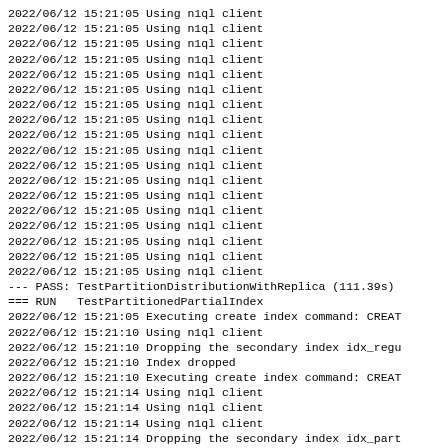2022/06/12 15:21:05 Using n1ql client
2022/06/12 15:21:05 Using n1ql client
2022/06/12 15:21:05 Using n1ql client
2022/06/12 15:21:05 Using n1ql client
2022/06/12 15:21:05 Using n1ql client
2022/06/12 15:21:05 Using n1ql client
2022/06/12 15:21:05 Using n1ql client
2022/06/12 15:21:05 Using n1ql client
2022/06/12 15:21:05 Using n1ql client
2022/06/12 15:21:05 Using n1ql client
2022/06/12 15:21:05 Using n1ql client
2022/06/12 15:21:05 Using n1ql client
2022/06/12 15:21:05 Using n1ql client
2022/06/12 15:21:05 Using n1ql client
2022/06/12 15:21:05 Using n1ql client
2022/06/12 15:21:05 Using n1ql client
2022/06/12 15:21:05 Using n1ql client
2022/06/12 15:21:05 Using n1ql client
--- PASS: TestPartitionDistributionWithReplica (111.39s)
=== RUN   TestPartitionedPartialIndex
2022/06/12 15:21:05 Executing create index command: CREAT
2022/06/12 15:21:10 Using n1ql client
2022/06/12 15:21:10 Dropping the secondary index idx_regu
2022/06/12 15:21:10 Index dropped
2022/06/12 15:21:10 Executing create index command: CREAT
2022/06/12 15:21:14 Using n1ql client
2022/06/12 15:21:14 Using n1ql client
2022/06/12 15:21:14 Using n1ql client
2022/06/12 15:21:14 Dropping the secondary index idx_part
2022/06/12 15:21:14 Index dropped